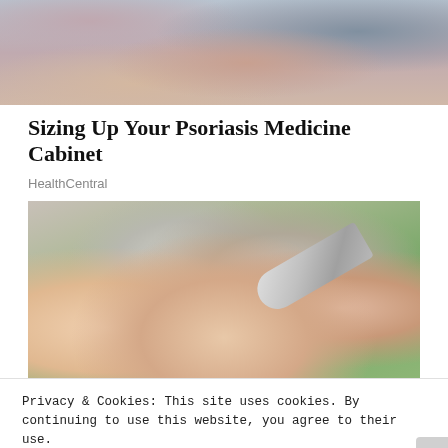[Figure (photo): Top partial image showing a person sitting, wearing a plaid shirt and jeans]
Sizing Up Your Psoriasis Medicine Cabinet
HealthCentral
[Figure (photo): Close-up photo of a hand holding a cream tube, squeezing cream onto another open palm, with green blurred background]
Privacy & Cookies: This site uses cookies. By continuing to use this website, you agree to their use.
To find out more, including how to control cookies, see here: Cookie Policy
Close and accept